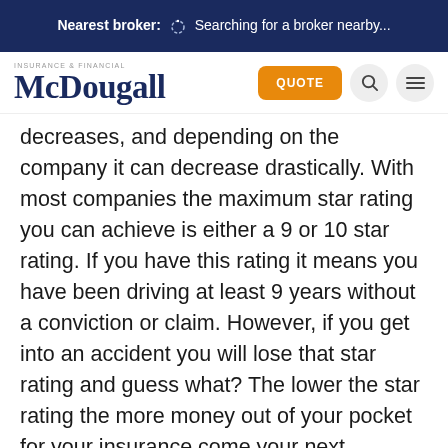Nearest broker: Searching for a broker nearby...
[Figure (logo): McDougall Insurance & Financial logo with orange QUOTE button, search icon, and menu icon]
decreases, and depending on the company it can decrease drastically. With most companies the maximum star rating you can achieve is either a 9 or 10 star rating. If you have this rating it means you have been driving at least 9 years without a conviction or claim. However, if you get into an accident you will lose that star rating and guess what? The lower the star rating the more money out of your pocket for your insurance come your next renewal. So what does the accident forgiveness do for you? It